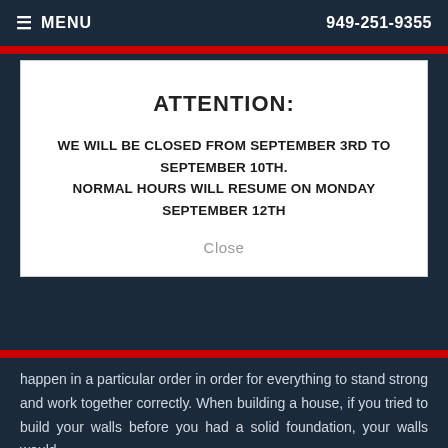≡ MENU  949-251-9355
ATTENTION:
WE WILL BE CLOSED FROM SEPTEMBER 3RD TO SEPTEMBER 10TH. NORMAL HOURS WILL RESUME ON MONDAY SEPTEMBER 12TH
Close
happen in a particular order in order for everything to stand strong and work together correctly. When building a house, if you tried to build your walls before you had a solid foundation, your walls would